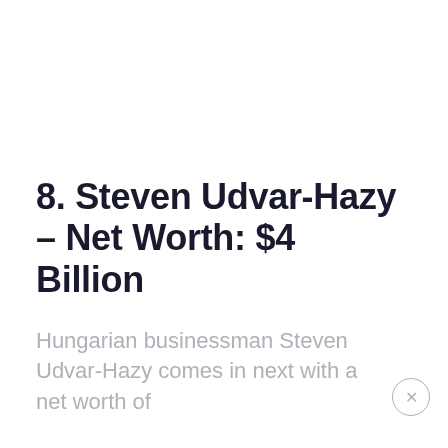8. Steven Udvar-Hazy – Net Worth: $4 Billion
Hungarian businessman Steven Udvar-Hazy comes in next with a net worth of